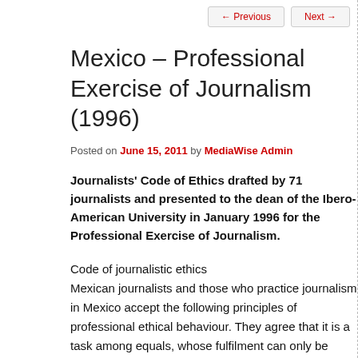← Previous   Next →
Mexico – Professional Exercise of Journalism (1996)
Posted on June 15, 2011 by MediaWise Admin
Journalists' Code of Ethics drafted by 71 journalists and presented to the dean of the Ibero-American University in January 1996 for the Professional Exercise of Journalism.
Code of journalistic ethics
Mexican journalists and those who practice journalism in Mexico accept the following principles of professional ethical behaviour. They agree that it is a task among equals, whose fulfilment can only be determined by individual conviction.